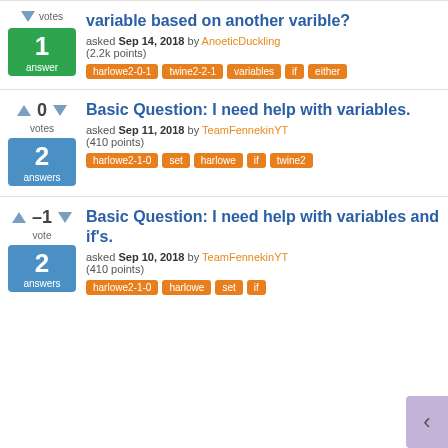variable based on another varible?
asked Sep 14, 2018 by AnoeticDuckling (2.2k points)
harlowe2-0-1
twine2-2-1
variables
if
either
Basic Question: I need help with variables.
asked Sep 11, 2018 by TeamFennekinYT (410 points)
harlowe2-1-0
set
harlowe
if
twine2
Basic Question: I need help with variables and if's.
asked Sep 10, 2018 by TeamFennekinYT (410 points)
harlowe2-1-0
harlowe
set
if